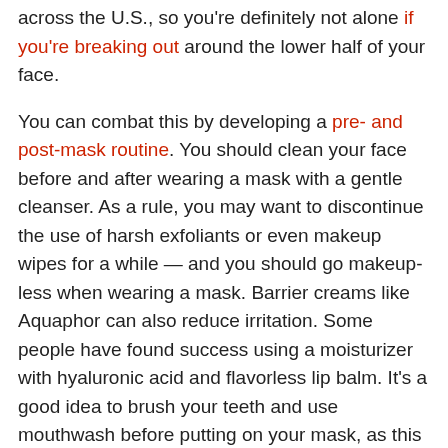across the U.S., so you're definitely not alone if you're breaking out around the lower half of your face.
You can combat this by developing a pre- and post-mask routine. You should clean your face before and after wearing a mask with a gentle cleanser. As a rule, you may want to discontinue the use of harsh exfoliants or even makeup wipes for a while — and you should go makeup-less when wearing a mask. Barrier creams like Aquaphor can also reduce irritation. Some people have found success using a moisturizer with hyaluronic acid and flavorless lip balm. It's a good idea to brush your teeth and use mouthwash before putting on your mask, as this can kill bacteria that can otherwise make your face break out. And of course, don't forget to wash your mask after each use with fragrance-free detergent.
Although making a physical visit to your dermatologist may be out of the question right now, you can attend to